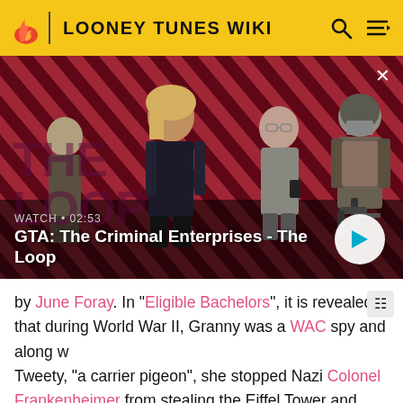LOONEY TUNES WIKI
[Figure (screenshot): GTA: The Criminal Enterprises - The Loop video thumbnail with four game characters on a red diagonal striped background. Text overlay reads WATCH · 02:53 and GTA: The Criminal Enterprises - The Loop. A play button is visible on the right.]
by June Foray. In "Eligible Bachelors", it is revealed that during World War II, Granny was a WAC spy and along w[ith] Tweety, "a carrier pigeon", she stopped Nazi Colonel Frankenheimer from stealing the Eiffel Tower and various paintings from the Louvre. During the flashback, she